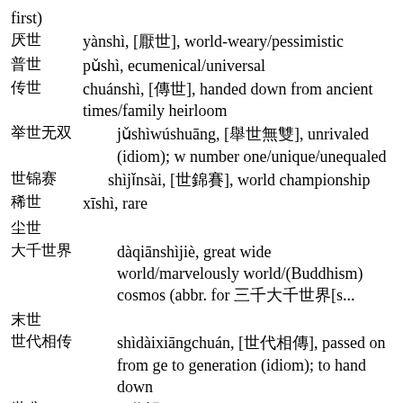first)
厌世　yànshì, [厭世], world-weary/pessimistic
普世　pǔshì, ecumenical/universal
传世　chuánshì, [傳世], handed down from ancient times/family heirloom
举世无双　jǔshìwúshuāng, [舉世無雙], unrivaled (idiom); world number one/unique/unequaled
世锦赛　shìjǐnsài, [世錦賽], world championship
稀世　xīshì, rare
尘世
大千世界　dàqiānshìjiè, great wide world/marvelously world/(Buddhism) cosmos (abbr. for 三千大千世界[s...
末世
世代相传　shìdàixiāngchuán, [世代相傳], passed on from generation to generation (idiom); to hand down
世袭　shìxí, [世襲], succession/inheritance/hereditary
世博会　Shìbóhuì, [世博會], World Exposition/abbr. for 世界博览会...